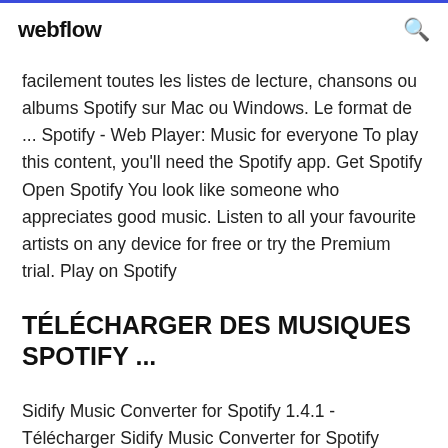webflow
facilement toutes les listes de lecture, chansons ou albums Spotify sur Mac ou Windows. Le format de ... Spotify - Web Player: Music for everyone To play this content, you'll need the Spotify app. Get Spotify Open Spotify You look like someone who appreciates good music. Listen to all your favourite artists on any device for free or try the Premium trial. Play on Spotify
TÉLÉCHARGER DES MUSIQUES SPOTIFY ...
Sidify Music Converter for Spotify 1.4.1 - Télécharger Sidify Music Converter for Spotify